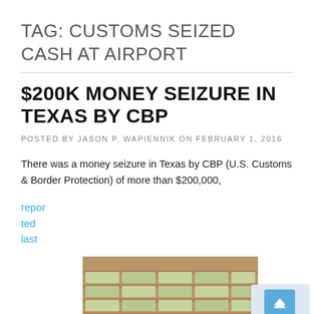TAG: CUSTOMS SEIZED CASH AT AIRPORT
$200K MONEY SEIZURE IN TEXAS BY CBP
POSTED BY JASON P. WAPIENNIK ON FEBRUARY 1, 2016
There was a money seizure in Texas by CBP (U.S. Customs & Border Protection) of more than $200,000,
reported last
[Figure (photo): Photo of stacks of cash/money laid out on a surface]